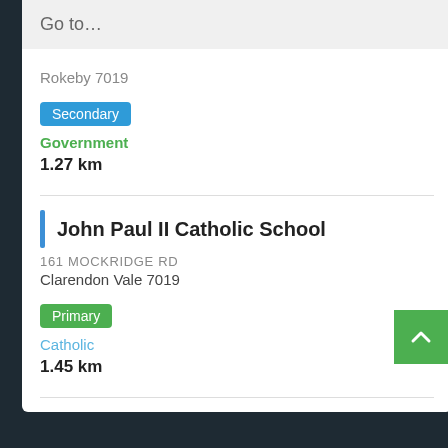Go to…
Rokeby 7019
Secondary
Government
1.27 km
John Paul II Catholic School
161 MOCKRIDGE RD
Clarendon Vale 7019
Primary
Catholic
1.45 km